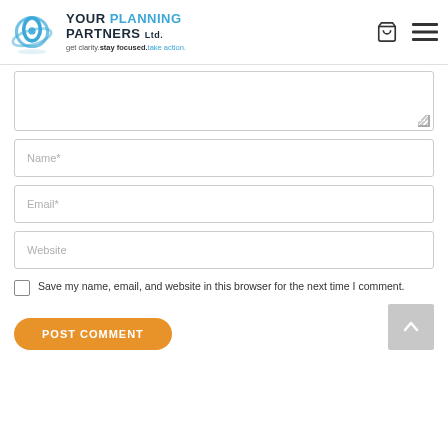[Figure (logo): Your Planning Partners Ltd. logo with blue swirl icon and tagline: get clarity.stay focused.take action.]
[Comment textarea - partially visible, cropped]
Name*
Email*
Website
Save my name, email, and website in this browser for the next time I comment.
POST COMMENT